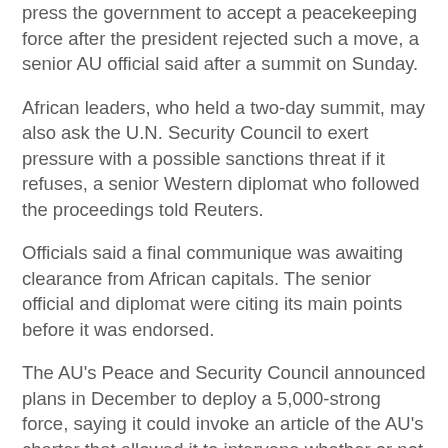press the government to accept a peacekeeping force after the president rejected such a move, a senior AU official said after a summit on Sunday.
African leaders, who held a two-day summit, may also ask the U.N. Security Council to exert pressure with a possible sanctions threat if it refuses, a senior Western diplomat who followed the proceedings told Reuters.
Officials said a final communique was awaiting clearance from African capitals. The senior official and diplomat were citing its main points before it was endorsed.
The AU's Peace and Security Council announced plans in December to deploy a 5,000-strong force, saying it could invoke an article of the AU's charter that allowed it to intervene whether or not the government agreed.
President Pierre Nkurunziza, whose bid for a third term angered opponents and sparked months of violence, rejected it.
Read...